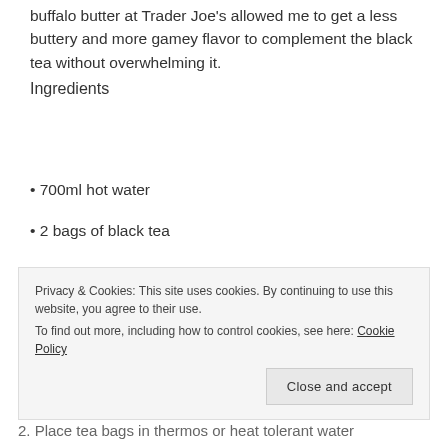buffalo butter at Trader Joe's allowed me to get a less buttery and more gamey flavor to complement the black tea without overwhelming it.
Ingredients
• 700ml hot water
• 2 bags of black tea
Privacy & Cookies: This site uses cookies. By continuing to use this website, you agree to their use.
To find out more, including how to control cookies, see here: Cookie Policy
2. Place tea bags in thermos or heat tolerant water